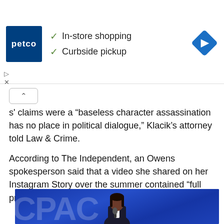[Figure (other): Petco advertisement banner showing Petco logo, checkmarks for In-store shopping and Curbside pickup, and a blue navigation diamond icon]
s' claims were a "baseless character assassination has no place in political dialogue," Klacik's attorney told Law & Crime.
According to The Independent, an Owens spokesperson said that a video she shared on her Instagram Story over the summer contained “full proof” of the allegations.
[Figure (photo): Photo of a woman (Candace Owens) in a dark pinstripe blazer holding a microphone, with a blue CPAC backdrop behind her]